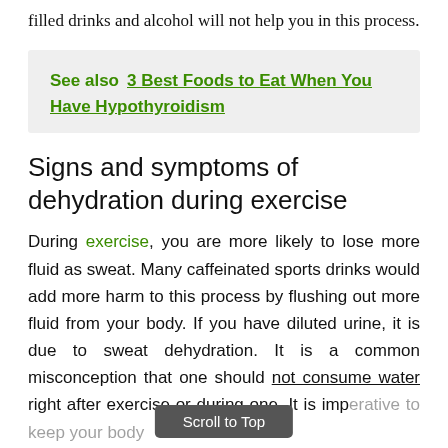filled drinks and alcohol will not help you in this process.
See also  3 Best Foods to Eat When You Have Hypothyroidism
Signs and symptoms of dehydration during exercise
During exercise, you are more likely to lose more fluid as sweat. Many caffeinated sports drinks would add more harm to this process by flushing out more fluid from your body. If you have diluted urine, it is due to sweat dehydration. It is a common misconception that one should not consume water right after exercise or during one. It is imperative to keep your body
Scroll to Top